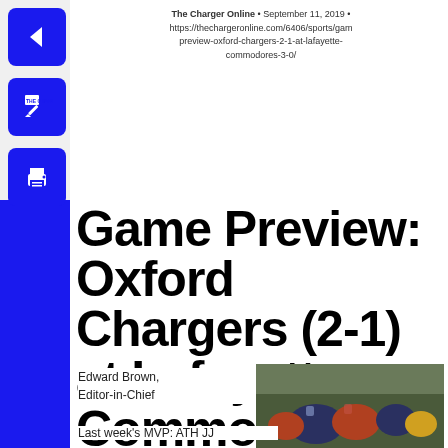The Charger Online • September 11, 2019 • https://thechargeronline.com/6406/sports/game-preview-oxford-chargers-2-1-at-lafayette-commodores-3-0/
Game Preview: Oxford Chargers (2-1) at Lafayette Commodores (3-0)
Edward Brown, Editor-in-Chief
[Figure (photo): Football players on a field during a game, players wearing blue and red jerseys in a huddle or scrimmage]
Last week's MVP: ATH JJ